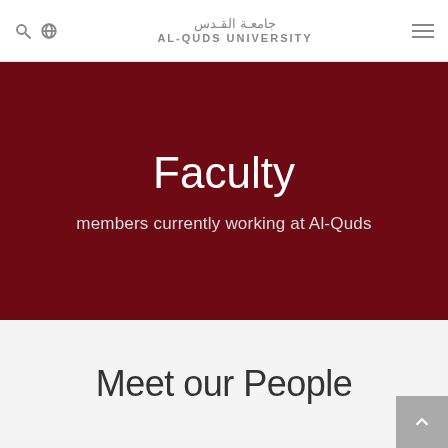جامعـة القـدس AL-QUDS UNIVERSITY
Faculty
members currently working at Al-Quds
Meet our People